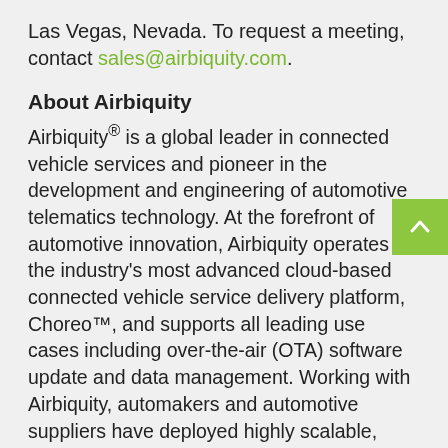Las Vegas, Nevada. To request a meeting, contact sales@airbiquity.com.
About Airbiquity
Airbiquity® is a global leader in connected vehicle services and pioneer in the development and engineering of automotive telematics technology. At the forefront of automotive innovation, Airbiquity operates the industry's most advanced cloud-based connected vehicle service delivery platform, Choreo™, and supports all leading use cases including over-the-air (OTA) software update and data management. Working with Airbiquity, automakers and automotive suppliers have deployed highly scalable, manageable, and secure connected vehicle service programs meeting the needs of their customers in over 60 countries around the world. Learn more